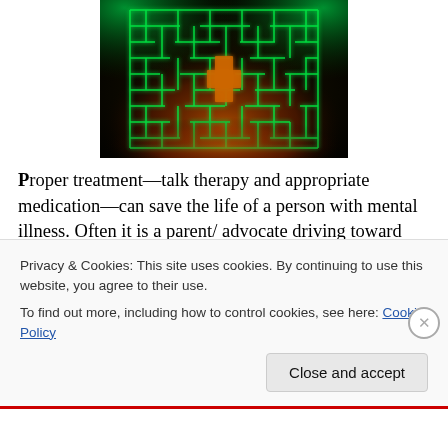[Figure (photo): A glowing green and orange maze/labyrinth viewed from above on a dark background, with neon green walls and warm orange/red lighting from below.]
Proper treatment—talk therapy and appropriate medication—can save the life of a person with mental illness. Often it is a parent/ advocate driving toward that ultimate goal, one met with a myriad of obstacles. Every parent interviewed for our Behind The Wall project had at least one, if not several, hideous experiences with the
Privacy & Cookies: This site uses cookies. By continuing to use this website, you agree to their use.
To find out more, including how to control cookies, see here: Cookie Policy
Close and accept